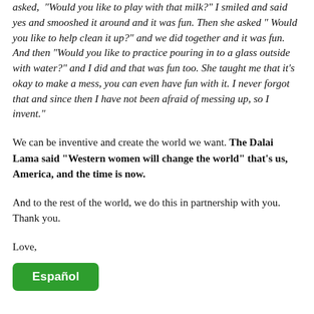asked, "Would you like to play with that milk?" I smiled and said yes and smooshed it around and it was fun. Then she asked " Would you like to help clean it up?" and we did together and it was fun. And then "Would you like to practice pouring in to a glass outside with water?" and I did and that was fun too. She taught me that it's okay to make a mess, you can even have fun with it. I never forgot that and since then I have not been afraid of messing up, so I invent."
We can be inventive and create the world we want. The Dalai Lama said "Western women will change the world" that's us, America, and the time is now.
And to the rest of the world, we do this in partnership with you. Thank you.
Love,
[Figure (other): Green button labeled 'Español']